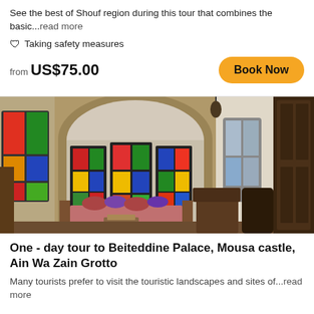See the best of Shouf region during this tour that combines the basic...read more
🛡 Taking safety measures
from US$75.00
Book Now
[Figure (photo): Interior of Beiteddine Palace showing colorful stained glass windows with red, green, yellow and blue panes set in stone arches, with traditional Middle Eastern wooden furniture and seating areas]
One - day tour to Beiteddine Palace, Mousa castle, Ain Wa Zain Grotto
Many tourists prefer to visit the touristic landscapes and sites of...read more